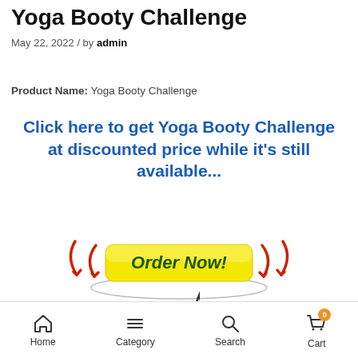Yoga Booty Challenge
May 22, 2022 / by admin
Product Name: Yoga Booty Challenge
Click here to get Yoga Booty Challenge at discounted price while it's still available...
[Figure (other): Order Now button with red arrow decorations on either side and an oval shadow beneath, yellow button with dark green italic bold text reading 'Order Now!']
Home  Category  Search  Cart